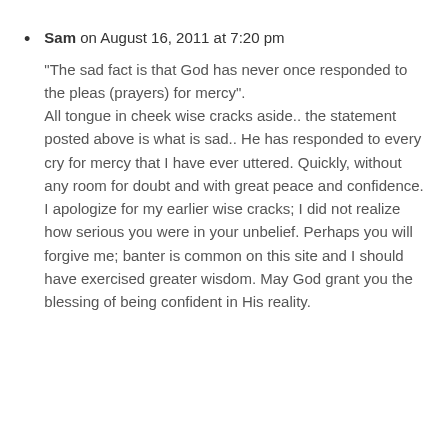Sam on August 16, 2011 at 7:20 pm
“The sad fact is that God has never once responded to the pleas (prayers) for mercy”.
All tongue in cheek wise cracks aside.. the statement posted above is what is sad.. He has responded to every cry for mercy that I have ever uttered. Quickly, without any room for doubt and with great peace and confidence. I apologize for my earlier wise cracks; I did not realize how serious you were in your unbelief. Perhaps you will forgive me; banter is common on this site and I should have exercised greater wisdom. May God grant you the blessing of being confident in His reality.